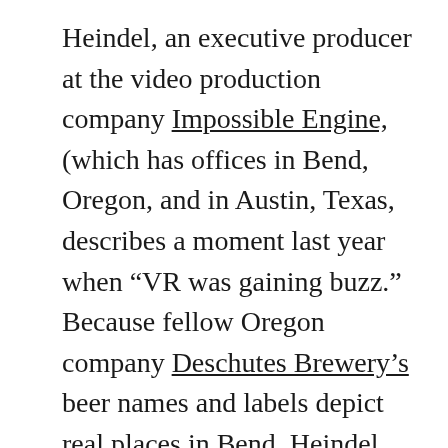Heindel, an executive producer at the video production company Impossible Engine, (which has offices in Bend, Oregon, and in Austin, Texas, describes a moment last year when “VR was gaining buzz.” Because fellow Oregon company Deschutes Brewery’s beer names and labels depict real places in Bend, Heindel says it seemed like a natural fit for both the VR technology and the virtual experience. “Knowing Deschutes plans to open a brewery in Virginia, we thought it made sense to solidify their introduction to a new region by taking their existing—and new—customers to the actual places on those